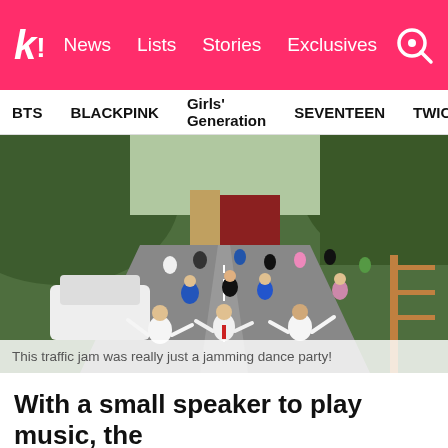k! News | Lists | Stories | Exclusives
BTS | BLACKPINK | Girls' Generation | SEVENTEEN | TWICE
[Figure (photo): People dancing on a highway during a traffic jam, with trucks and cars stopped. Green hillside in background. Several people in white shirts dancing with arms spread.]
This traffic jam was really just a jamming dance party!
With a small speaker to play music, the